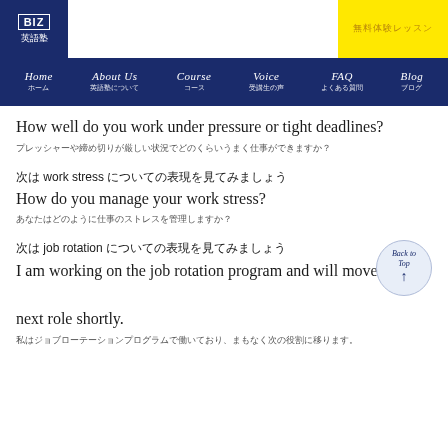BIZ英語塾 | Home | About Us | Course | Voice | FAQ | Blog
How well do you work under pressure or tight deadlines?
プレッシャーや締め切りが厳しい状況でどのくらいうまく仕事ができますか？
次は work stress についての表現を見てみましょう
How do you manage your work stress?
あなたはどのように仕事のストレスを管理しますか？
次は job rotation についての表現を見てみましょう
I am working on the job rotation program and will move to the next role shortly.
私はジョブローテーションプログラムで働いており、まもなく次の役割に移ります。